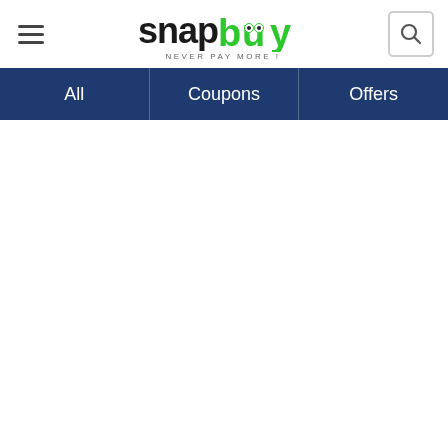[Figure (logo): Snapbuy logo with the text 'snap' in black bold and 'buy' in green bold with cartoon eyes in the letters, and tagline 'NEVER PAY MORE !' below]
[Figure (screenshot): Navigation bar with three tabs: All, Coupons, Offers on dark blue background]
All
Coupons
Offers